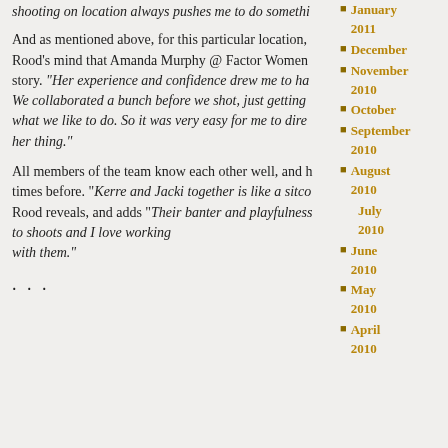shooting on location always pushes me to do something
And as mentioned above, for this particular location, Rood's mind that Amanda Murphy @ Factor Women story. "Her experience and confidence drew me to have We collaborated a bunch before we shot, just getting what we like to do. So it was very easy for me to direct her thing."
All members of the team know each other well, and have worked together many times before. "Kerre and Jacki together is like a sitcom" Rood reveals, and adds "Their banter and playfulness always add fun to shoots and I love working with them."
...
January 2011
December
November 2010
October
September 2010
August 2010
July 2010
June 2010
May 2010
April 2010